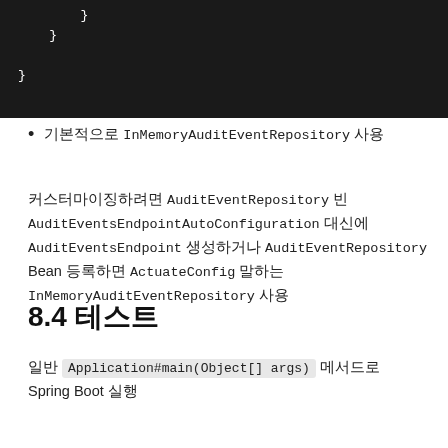[Figure (screenshot): Dark-background code block showing closing braces of a code snippet]
기본적으로 InMemoryAuditEventRepository 사용
커스터마이징하려면 AuditEventRepository 빈 AuditEventsEndpointAutoConfiguration 대신에 AuditEventsEndpoint 생성하거나 AuditEventRepository Bean 등록하면 ActuateConfig 말하는 InMemoryAuditEventRepository 사용
8.4 테스트
일반 Application#main(Object[] args) 메서드로 Spring Boot 실행